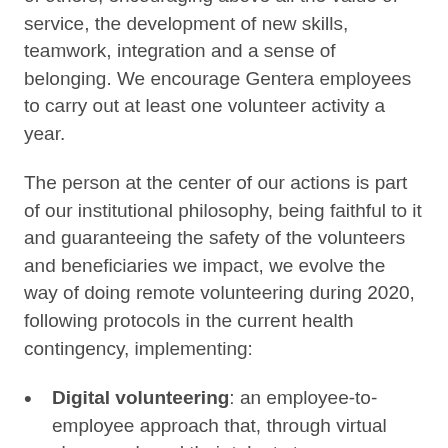of others, encouraging above all the value of service, the development of new skills, teamwork, integration and a sense of belonging. We encourage Gentera employees to carry out at least one volunteer activity a year.
The person at the center of our actions is part of our institutional philosophy, being faithful to it and guaranteeing the safety of the volunteers and beneficiaries we impact, we evolve the way of doing remote volunteering during 2020, following protocols in the current health contingency, implementing:
Digital volunteering: an employee-to-employee approach that, through virtual classes, shared their talents to